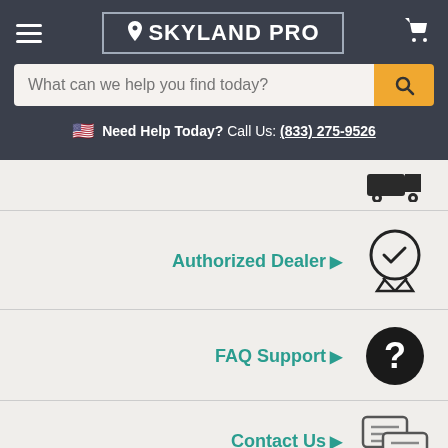[Figure (logo): Skyland Pro logo with location pin icon inside a rectangular border on dark background]
What can we help you find today?
Need Help Today? Call Us: (833) 275-9526
Authorized Dealer
FAQ Support
Contact Us
Check Out the Deal of the Day